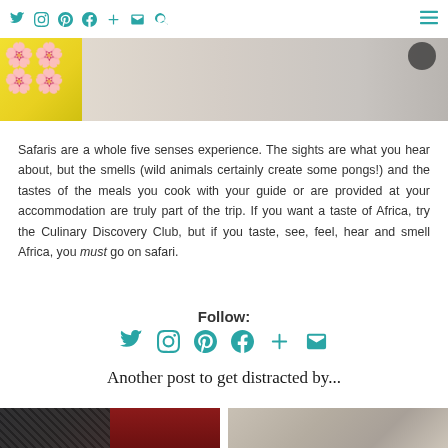Twitter Instagram Pinterest Facebook + Email Search | menu
[Figure (photo): Partial view of a decorative tile/book with yellow and pink pattern in bottom-left corner, grey surface background]
Safaris are a whole five senses experience. The sights are what you hear about, but the smells (wild animals certainly create some pongs!) and the tastes of the meals you cook with your guide or are provided at your accommodation are truly part of the trip. If you want a taste of Africa, try the Culinary Discovery Club, but if you taste, see, feel, hear and smell Africa, you must go on safari.
Follow:
[Figure (infographic): Row of social media icons in teal: Twitter, Instagram, Pinterest, Facebook, Plus, Email]
Another post to get distracted by...
[Figure (photo): Two partial thumbnail images side by side at bottom of page]